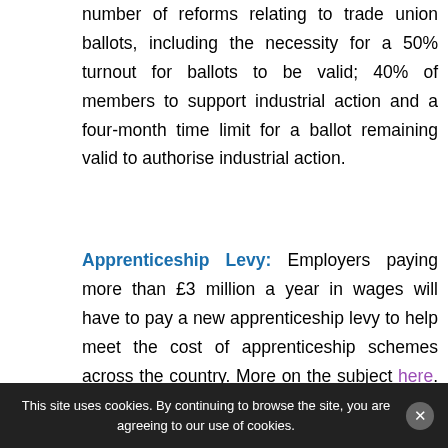number of reforms relating to trade union ballots, including the necessity for a 50% turnout for ballots to be valid; 40% of members to support industrial action and a four-month time limit for a ballot remaining valid to authorise industrial action.
Apprenticeship Levy: Employers paying more than £3 million a year in wages will have to pay a new apprenticeship levy to help meet the cost of apprenticeship schemes across the country. More on the subject here. [See ACAS Apprentices]
The Immigration Skills Charge Regulations
This site uses cookies. By continuing to browse the site, you are agreeing to our use of cookies.